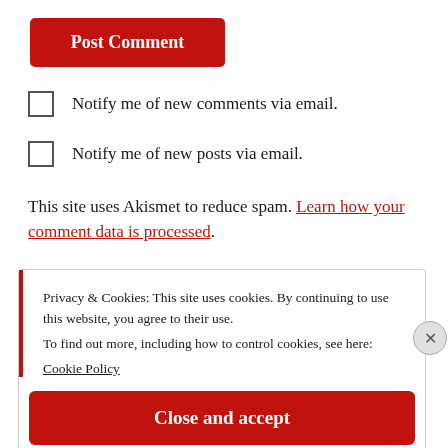Post Comment
Notify me of new comments via email.
Notify me of new posts via email.
This site uses Akismet to reduce spam. Learn how your comment data is processed.
Privacy & Cookies: This site uses cookies. By continuing to use this website, you agree to their use.
To find out more, including how to control cookies, see here:
Cookie Policy
Close and accept